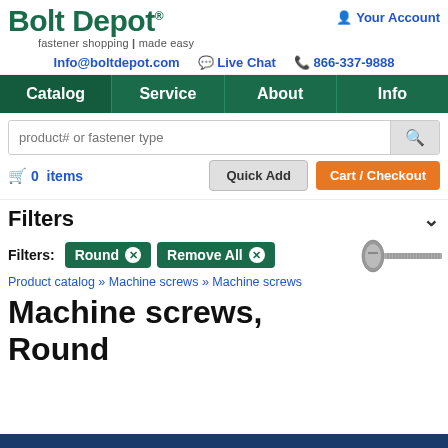Bolt Depot® — fastener shopping made easy | Your Account
Info@boltdepot.com  Live Chat  866-337-9888
Catalog  Service  About  Info
product# or fastener type  [Quick Add]  [Cart / Checkout]
0 items
Filters
Filters: Round ✕  Remove All ✕
Product catalog » Machine screws » Machine screws
Machine screws, Round
[Figure (photo): Image of a round head machine screw]